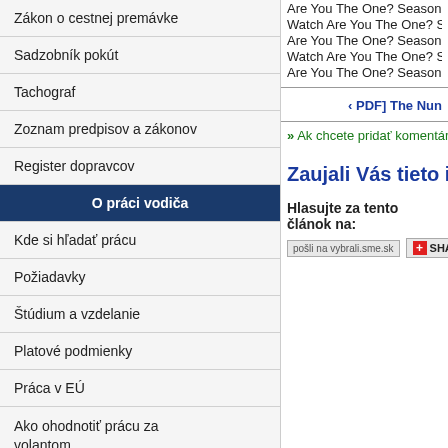Zákon o cestnej premávke
Sadzobník pokút
Tachograf
Zoznam predpisov a zákonov
Register dopravcov
O práci vodiča
Kde si hľadať prácu
Požiadavky
Štúdium a vzdelanie
Platové podmienky
Práca v EÚ
Ako ohodnotiť prácu za volantom
Únava - Človek nie je stroj
Povinnosti vodiča
Základná kvalifikácia, pravidelný výcvik a kvalifikačná karta
Vodičský preukaz
Are You The One? Season 7 Full Eps
Watch Are You The One? Season 7 Fr
Are You The One? Season 7 Episode
Watch Are You The One? Season 7 E
Are You The One? Season 7 Episode
‹ PDF] The Nun
» Ak chcete pridať komentáre, tak sa
Zaujali Vás tieto informácie?
Hlasujte za tento článok na:
[Figure (other): pošli na vybrali.sme.sk share button]